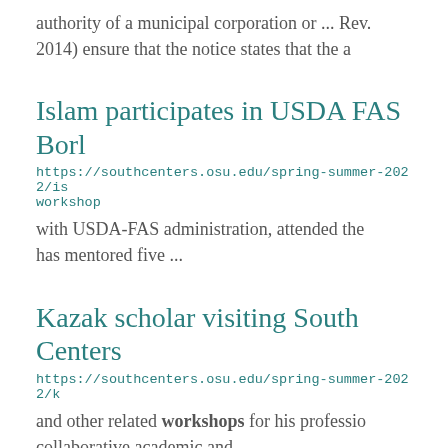authority of a municipal corporation or ... Rev. 2014) ensure that the notice states that the a
Islam participates in USDA FAS Borl
https://southcenters.osu.edu/spring-summer-2022/is workshop
with USDA-FAS administration, attended the has mentored five ...
Kazak scholar visiting South Centers
https://southcenters.osu.edu/spring-summer-2022/k
and other related workshops for his professio collaborative academic and ...
In memory of Duane Rigsby